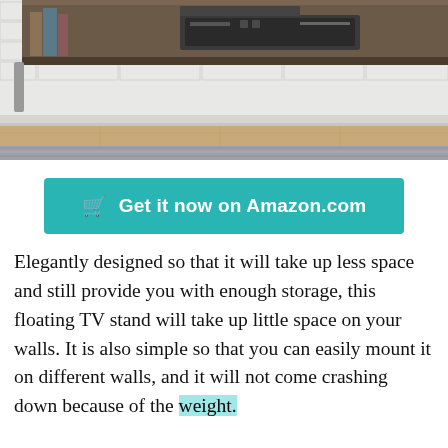[Figure (photo): A floating wall-mounted TV stand/shelf made of dark wood, holding media devices and books, against a white brick wall with light wood flooring and a patterned rug below.]
🛒  Get it now on Amazon.com
Elegantly designed so that it will take up less space and still provide you with enough storage, this floating TV stand will take up little space on your walls. It is also simple so that you can easily mount it on different walls, and it will not come crashing down because of the weight.